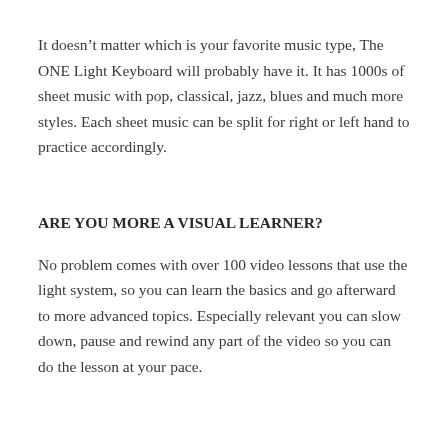It doesn't matter which is your favorite music type, The ONE Light Keyboard will probably have it. It has 1000s of sheet music with pop, classical, jazz, blues and much more styles. Each sheet music can be split for right or left hand to practice accordingly.
ARE YOU MORE A VISUAL LEARNER?
No problem comes with over 100 video lessons that use the light system, so you can learn the basics and go afterward to more advanced topics. Especially relevant you can slow down, pause and rewind any part of the video so you can do the lesson at your pace.